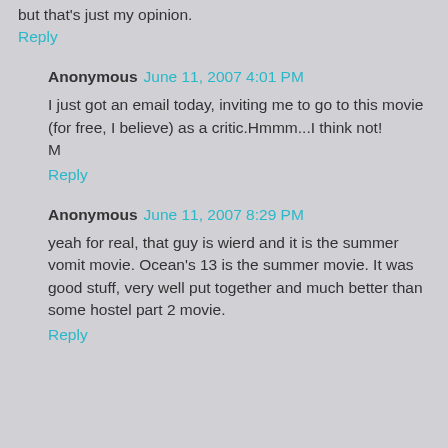but that's just my opinion.
Reply
Anonymous  June 11, 2007 4:01 PM
I just got an email today, inviting me to go to this movie (for free, I believe) as a critic.Hmmm...I think not!
M
Reply
Anonymous  June 11, 2007 8:29 PM
yeah for real, that guy is wierd and it is the summer vomit movie. Ocean's 13 is the summer movie. It was good stuff, very well put together and much better than some hostel part 2 movie.
Reply